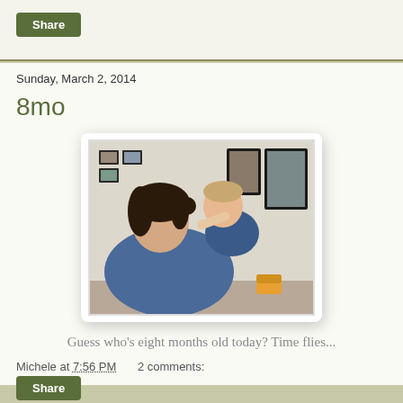Share
Sunday, March 2, 2014
8mo
[Figure (photo): A woman in a blue top holding a baby approximately 8 months old, with picture frames on the wall in the background.]
Guess who's eight months old today? Time flies...
Michele at 7:56 PM    2 comments:
Share